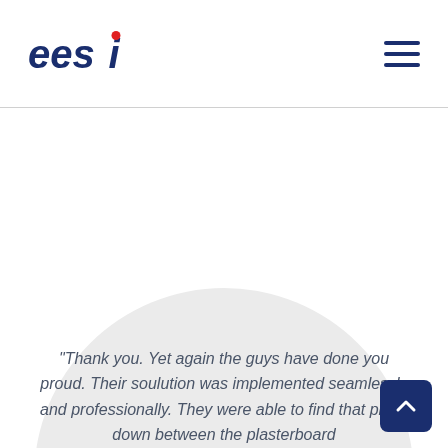eesi logo and navigation
[Figure (logo): EESI company logo with blue letters and a red dot above the letter i]
[Figure (illustration): Light grey circle in background behind testimonial text]
“Thank you. Yet again the guys have done you proud. Their soulution was implemented seamlessly and professionally. They were able to find that piece down between the plasterboard...